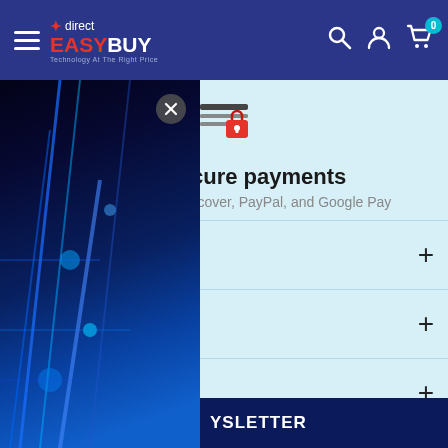[Figure (screenshot): Direct EasyBuy navigation bar with hamburger menu, logo, search icon, account icon, and cart icon with badge 0]
[Figure (illustration): Secure payment lock icon — horizontal lines representing a card with a red padlock icon overlay]
100% Secure payments
Mastercard, Amex, Discover, PayPal, and Google Pay
[Figure (photo): Dark blue technology circuit board popup overlay image with close button]
YSLETTER